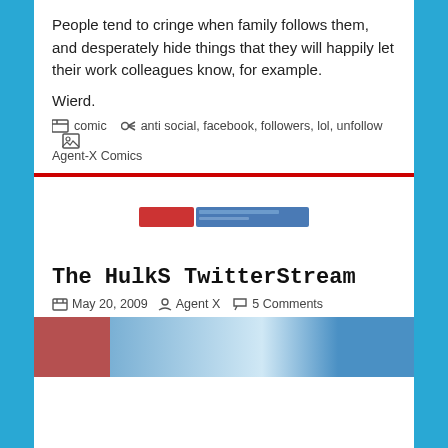People tend to cringe when family follows them, and desperately hide things that they will happily let their work colleagues know, for example.
Wierd.
comic  anti social, facebook, followers, lol, unfollow  Agent-X Comics
[Figure (screenshot): Thumbnail image of a webpage with red and blue header elements]
The HulkS TwitterStream
May 20, 2009  Agent X  5 Comments
[Figure (screenshot): Partial screenshot of a webpage showing red and blue header area]